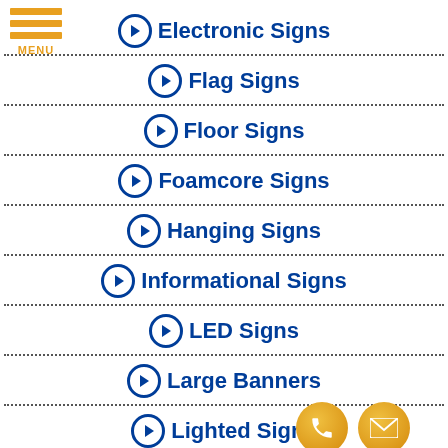[Figure (other): Hamburger menu icon with three orange bars and MENU label]
Electronic Signs
Flag Signs
Floor Signs
Foamcore Signs
Hanging Signs
Informational Signs
LED Signs
Large Banners
Lighted Signs
[Figure (other): Phone contact button (gold circle with phone icon) and email contact button (gold circle with envelope icon)]